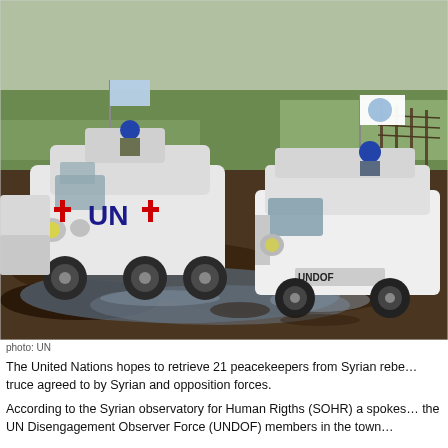[Figure (photo): Two white UN armored vehicles driving through muddy terrain. The larger vehicle on the left displays a red cross and 'UN' markings. A soldier in a blue helmet stands in the turret of the right vehicle marked 'UNDOF'. Both vehicles carry white/blue UN flags. Green fields visible in background.]
photo: UN
The United Nations hopes to retrieve 21 peacekeepers from Syrian rebe... truce agreed to by Syrian and opposition forces.
According to the Syrian observatory for Human Rigths (SOHR) a spokes... the UN Disengagement Observer Force (UNDOF) members in the town...